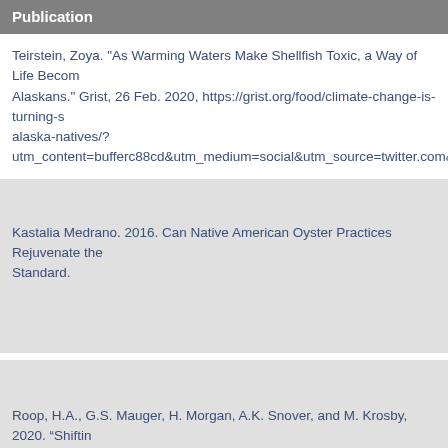Publication
Teirstein, Zoya. "As Warming Waters Make Shellfish Toxic, a Way of Life Becomes Endangered for Alaskans." Grist, 26 Feb. 2020, https://grist.org/food/climate-change-is-turning-shellfish-toxic-for-alaska-natives/?utm_content=bufferc88cd&utm_medium=social&utm_source=twitter.com&utm_c
Kastalia Medrano. 2016. Can Native American Oyster Practices Rejuvenate the Standard.
Roop, H.A., G.S. Mauger, H. Morgan, A.K. Snover, and M. Krosby, 2020. “Shifting The Intergovernmental Panel on Climate Change’s Special Report on the Ocean Implications for Washington State.” Briefing paper prepared by the Climate Impa Washington, Seattle